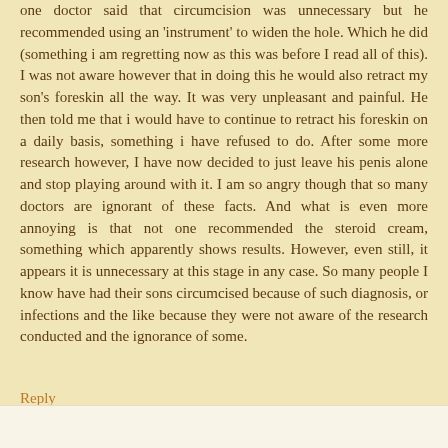one doctor said that circumcision was unnecessary but he recommended using an 'instrument' to widen the hole. Which he did (something i am regretting now as this was before I read all of this). I was not aware however that in doing this he would also retract my son's foreskin all the way. It was very unpleasant and painful. He then told me that i would have to continue to retract his foreskin on a daily basis, something i have refused to do. After some more research however, I have now decided to just leave his penis alone and stop playing around with it. I am so angry though that so many doctors are ignorant of these facts. And what is even more annoying is that not one recommended the steroid cream, something which apparently shows results. However, even still, it appears it is unnecessary at this stage in any case. So many people I know have had their sons circumcised because of such diagnosis, or infections and the like because they were not aware of the research conducted and the ignorance of some.
Reply